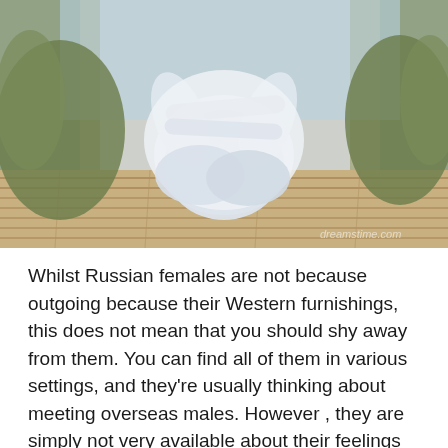[Figure (photo): Two people sitting on a wooden deck/boardwalk, embracing each other from behind, both wearing white clothing. Beach grass and sandy surroundings visible. Dreamstime.com watermark visible in lower right.]
Whilst Russian females are not because outgoing because their Western furnishings, this does not mean that you should shy away from them. You can find all of them in various settings, and they're usually thinking about meeting overseas males. However , they are simply not very available about their feelings and are sometimes wary of disclosing too much personal